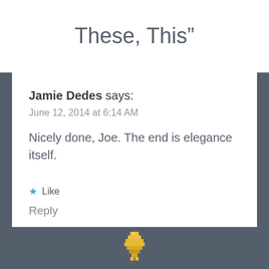These, This”
Jamie Dedes says:
June 12, 2014 at 6:14 AM
Nicely done, Joe. The end is elegance itself.
★ Like
Reply
[Figure (illustration): Partial view of a small pixel-art style figure at the bottom of the page on a dark gray background]